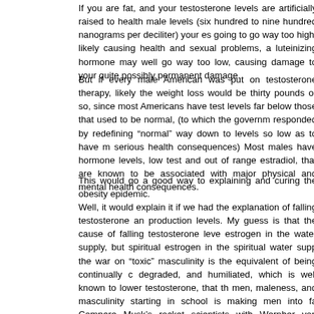If you are fat, and your testosterone levels are artificially raised to health male levels (six hundred to nine hundred nanograms per deciliter) your es going to go way too high, likely causing health and sexual problems, a luteinizing hormone may well go way too low, causing damage to your quite possibly permanent damage.
But if every male American was put on testosterone therapy, likely the weight loss would be thirty pounds or so, since most Americans have test levels far below those that used to be normal, (to which the governm responded by redefining “normal” way down to levels so low as to have m serious health consequences) Most males have hormone levels, low test and out of range estradiol, that are known to be associated with major physical and mental health consequences.
This would go a good way to explaining and curing the obesity epidemic.
Well, it would explain it if we had the explanation of falling testosterone an production levels. My guess is that the cause of falling testosterone leve estrogen in the water supply, but spiritual estrogen in the spiritual water supp the war on “toxic” masculinity is the equivalent of being continually c degraded, and humiliated, which is well known to lower testosterone, that th men, maleness, and masculinity starting in school is making men into fa Compare Musk’s rocket scientists with Wernher von Braun. Just lo American males and comparing them with males of earlier periods, lo something has gone massively and horribly wrong with their hormones, that a massive epidemic of hormone derangement, which, combined with t sugar and wheat flour, may well explain our male obesity epidemic. Ther some hormone derangement going on with our females.